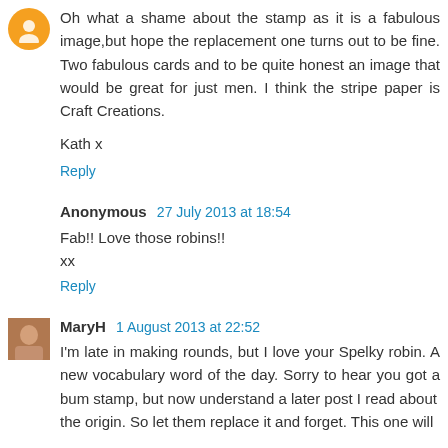Oh what a shame about the stamp as it is a fabulous image,but hope the replacement one turns out to be fine. Two fabulous cards and to be quite honest an image that would be great for just men. I think the stripe paper is Craft Creations.
Kath x
Reply
Anonymous 27 July 2013 at 18:54
Fab!! Love those robins!!
xx
Reply
MaryH 1 August 2013 at 22:52
I'm late in making rounds, but I love your Spelky robin. A new vocabulary word of the day. Sorry to hear you got a bum stamp, but now understand a later post I read about the origin. So let them replace it and forget. This one will